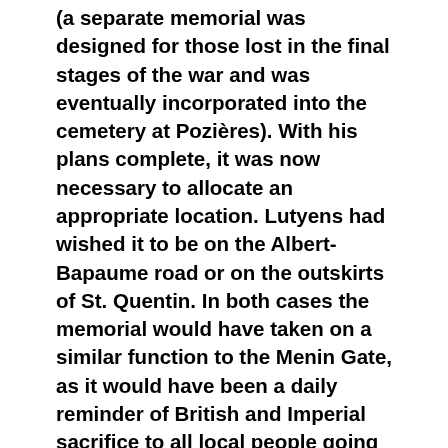(a separate memorial was designed for those lost in the final stages of the war and was eventually incorporated into the cemetery at Pozières). With his plans complete, it was now necessary to allocate an appropriate location. Lutyens had wished it to be on the Albert-Bapaume road or on the outskirts of St. Quentin. In both cases the memorial would have taken on a similar function to the Menin Gate, as it would have been a daily reminder of British and Imperial sacrifice to all local people going about their lives. It was this very aspect which caused a problem. Concerned that too many large British memorials were being erected across France, which might give people the impression that the British effort had somehow outshone that of the French army, the French authorities were increasingly sensitive to requests for land. Unable to place the memorial in the heart of the Somme community, Lutyens and the Imperial War Graves Commission looked for an alternative site. As